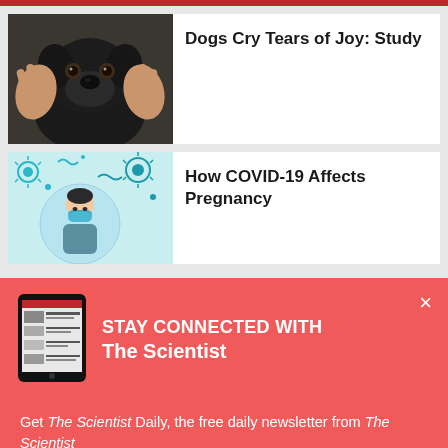[Figure (photo): Black dog with human hands cradling its face, close-up portrait]
Dogs Cry Tears of Joy: Study
[Figure (illustration): Illustration of COVID-19 bacteria/virus particles with a person wearing a face mask in a circle]
How COVID-19 Affects Pregnancy
[Figure (screenshot): Tablet device showing The Scientist website]
STAY CONNECTED WITH The Scientist
Get The Scientist Daily, the free daily newsletter from The Scientist